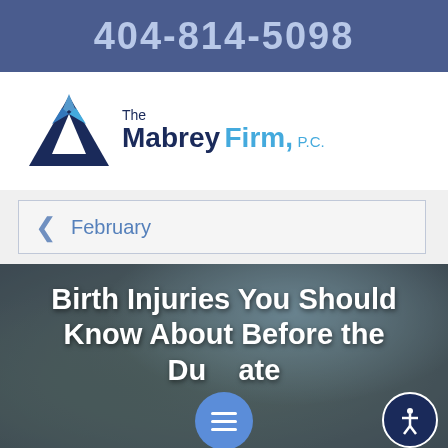404-814-5098
[Figure (logo): The Mabrey Firm, P.C. logo with blue geometric arrow/mountain icon]
February
[Figure (photo): Background photo of infant/baby with overlaid text: Birth Injuries You Should Know About Before the Due Date]